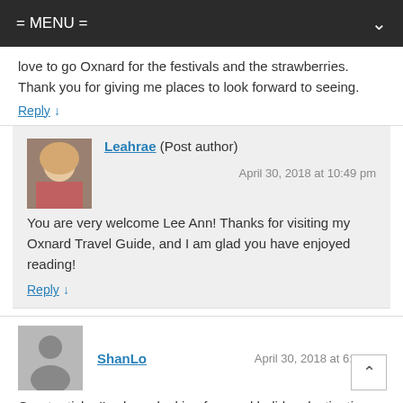= MENU =
love to go Oxnard for the festivals and the strawberries. Thank you for giving me places to look forward to seeing.
Reply ↓
Leahrae (Post author)
April 30, 2018 at 10:49 pm
You are very welcome Lee Ann! Thanks for visiting my Oxnard Travel Guide, and I am glad you have enjoyed reading!
Reply ↓
ShanLo
April 30, 2018 at 6:38 am
Great article, I've been looking for good holiday destinations to go to and this gives me some idea's, Thanks!
Reply ↓